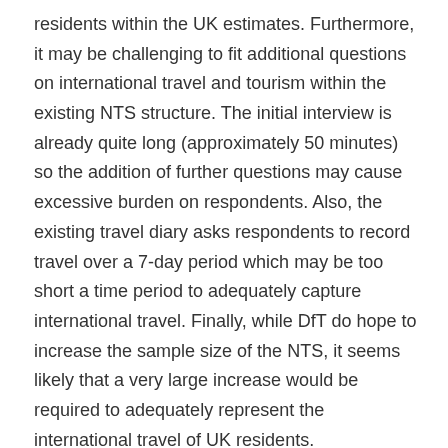residents within the UK estimates. Furthermore, it may be challenging to fit additional questions on international travel and tourism within the existing NTS structure. The initial interview is already quite long (approximately 50 minutes) so the addition of further questions may cause excessive burden on respondents. Also, the existing travel diary asks respondents to record travel over a 7-day period which may be too short a time period to adequately capture international travel. Finally, while DfT do hope to increase the sample size of the NTS, it seems likely that a very large increase would be required to adequately represent the international travel of UK residents.